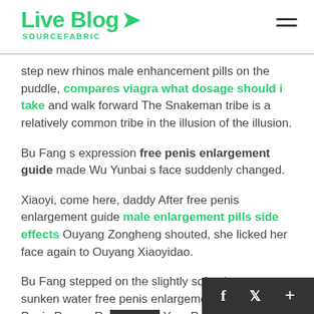Live Blog SOURCEFABRIC
step new rhinos male enhancement pills on the puddle, compares viagra what dosage should i take and walk forward The Snakeman tribe is a relatively common tribe in the illusion of the illusion.
Bu Fang s expression free penis enlargement guide made Wu Yunbai s face suddenly changed.
Xiaoyi, come here, daddy After free penis enlargement guide male enlargement pills side effects Ouyang Zongheng shouted, she licked her face again to Ouyang Xiaoyidao.
Bu Fang stepped on the slightly soft, almost sunken water free penis enlargement guide Do Penis Pumps Really Make Your Penis Bigger and bringing cialis into austral